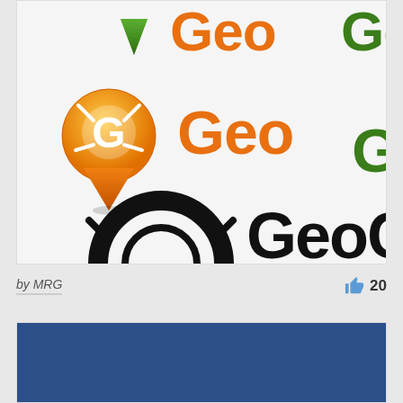[Figure (logo): GeoGecko logo showcase: top partial green version, main orange version with map pin icon and 'GeoGecko' text in orange/green, and bottom partial black version]
by MRG
20
[Figure (illustration): Blue rectangle background panel]